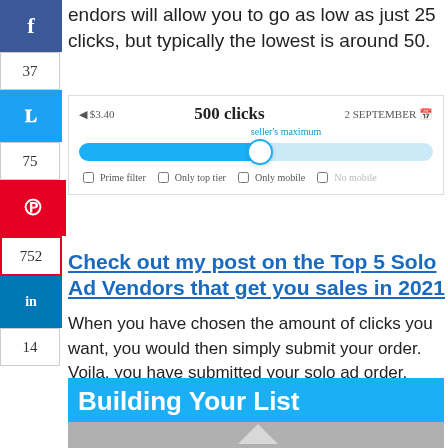vendors will allow you to go as low as just 25 clicks, but typically the lowest is around 50.
[Figure (screenshot): Solo ad vendor interface showing a slider set to 500 clicks with seller's maximum label, price $3.40, date 2 September, and filter checkboxes: Prime filter, Only top tier, Only mobile, No mobile]
Check out my post on the Top 5 Solo Ad Vendors that get you sales in 2021
When you have chosen the amount of clicks you want, you would then simply submit your order. Voila, you have submitted your solo ad order.
Building Your List
[Figure (photo): Partial image visible at bottom of page]